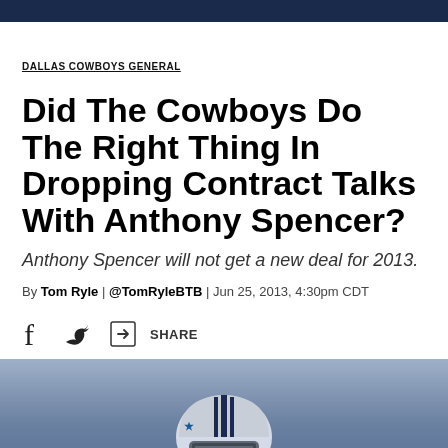DALLAS COWBOYS GENERAL
Did The Cowboys Do The Right Thing In Dropping Contract Talks With Anthony Spencer?
Anthony Spencer will not get a new deal for 2013.
By Tom Ryle | @TomRyleBTB | Jun 25, 2013, 4:30pm CDT
[Figure (other): Share bar with Facebook, Twitter, and share icons]
[Figure (photo): Football player wearing a Dallas Cowboys helmet and uniform, photographed from the shoulders up against a blurred blue stadium background.]